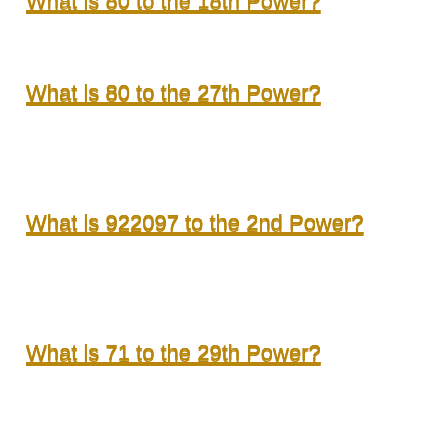What is 80 to the 18th Power?
What is 80 to the 27th Power?
What is 922097 to the 2nd Power?
What is 71 to the 29th Power?
What is 4 to the 31st Power?
What is 6 to the 83rd Power?
What is 84 to the 51st Power?
What is 90 to the 76th Power?
What is 46 to the 62nd Power?